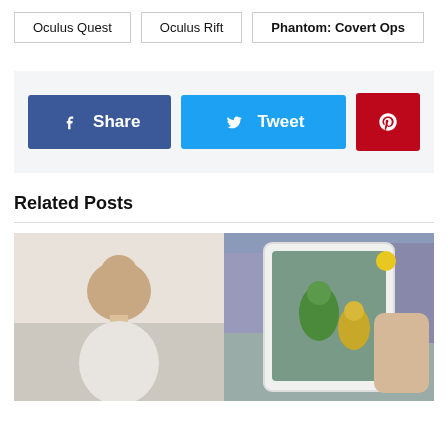Oculus Quest
Oculus Rift
Phantom: Covert Ops
[Figure (infographic): Social share buttons: Facebook Share (blue), Twitter Tweet (light blue), Pinterest (red)]
Related Posts
[Figure (photo): A child seen from behind holding a tablet showing an augmented reality game with fantasy character]